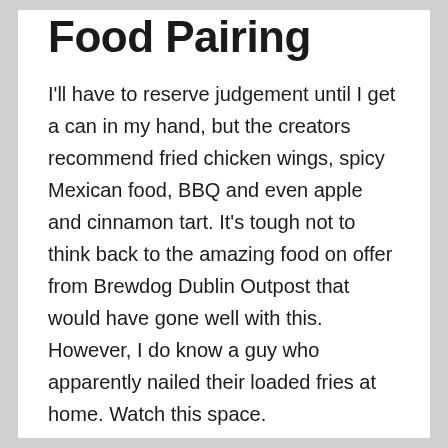Food Pairing
I'll have to reserve judgement until I get a can in my hand, but the creators recommend fried chicken wings, spicy Mexican food, BBQ and even apple and cinnamon tart. It's tough not to think back to the amazing food on offer from Brewdog Dublin Outpost that would have gone well with this. However, I do know a guy who apparently nailed their loaded fries at home. Watch this space.